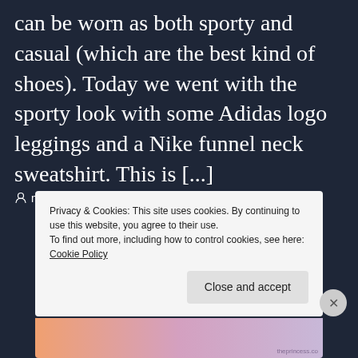can be worn as both sporty and casual (which are the best kind of shoes). Today we went with the sporty look with some Adidas logo leggings and a Nike funnel neck sweatshirt. This is [...]
mariahsteiner   February 11, 2017   Fashion
Privacy & Cookies: This site uses cookies. By continuing to use this website, you agree to their use.
To find out more, including how to control cookies, see here:
Cookie Policy
Close and accept